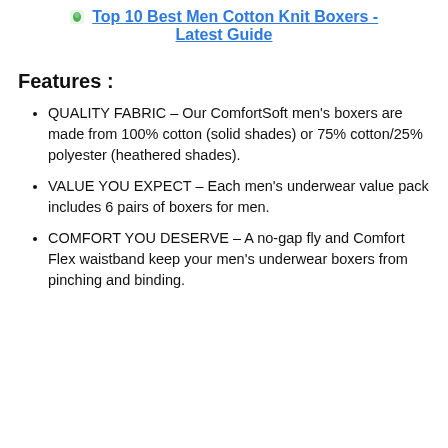Top 10 Best Men Cotton Knit Boxers - Latest Guide
Features :
QUALITY FABRIC – Our ComfortSoft men's boxers are made from 100% cotton (solid shades) or 75% cotton/25% polyester (heathered shades).
VALUE YOU EXPECT – Each men's underwear value pack includes 6 pairs of boxers for men.
COMFORT YOU DESERVE – A no-gap fly and Comfort Flex waistband keep your men's underwear boxers from pinching and binding.